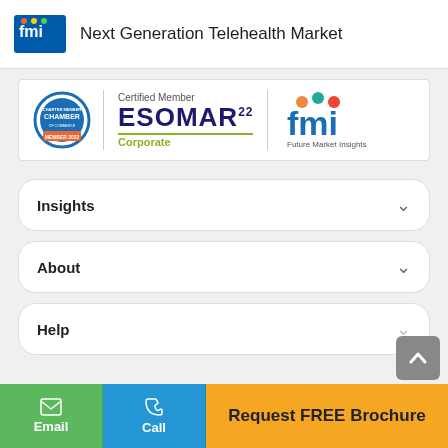Next Generation Telehealth Market
[Figure (logo): FMI Future Market Insights logo in header]
[Figure (logo): ESOMAR22 Corporate Certified Member badge with Chamber logo and Future Market Insights logo]
Insights
About
Help
Email
Call
Request FREE Brochure